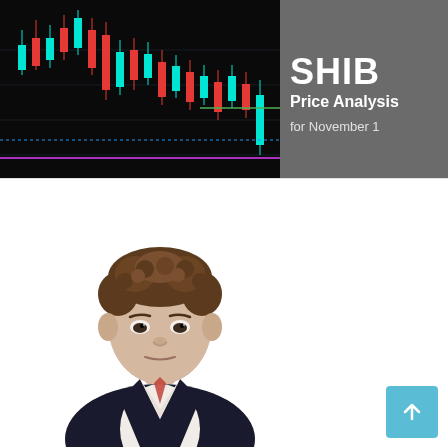[Figure (continuous-plot): Candlestick chart on black background showing cryptocurrency price action with red and cyan/teal candles, horizontal dotted blue line near the bottom, horizontal magenta line below, and a green horizontal line in the middle-right area]
SHIB Price Analysis for November 1
[Figure (photo): Professional headshot photo of a young man with curly brown hair wearing a dark suit jacket and white shirt, photographed against a white background]